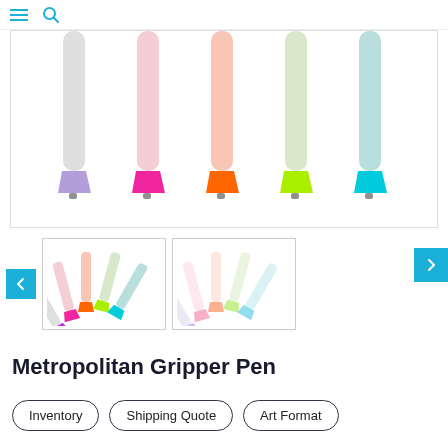Navigation header with menu and search icons
[Figure (photo): Five pastel-colored gripper pens arranged vertically showing colored grips: purple, pink, orange, yellow-green, and teal/cyan tips against white bodies]
[Figure (photo): Thumbnail 1: group of 5 colorful pens with bright colored grips fanned out]
[Figure (photo): Thumbnail 2: group of 5 pens with pastel/frosted bodies fanned out]
Metropolitan Gripper Pen
Inventory
Shipping Quote
Art Format